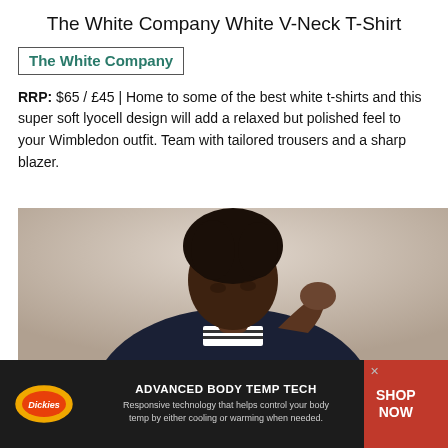The White Company White V-Neck T-Shirt
The White Company
RRP: $65 / £45 | Home to some of the best white t-shirts and this super soft lyocell design will add a relaxed but polished feel to your Wimbledon outfit. Team with tailored trousers and a sharp blazer.
[Figure (photo): A woman with natural hair wearing a dark navy cardigan over a striped top, looking downward, against a light neutral background.]
[Figure (infographic): Dickies advertisement banner: 'ADVANCED BODY TEMP TECH - Responsive technology that helps control your body temp by either cooling or warming when needed.' with SHOP NOW call to action button.]